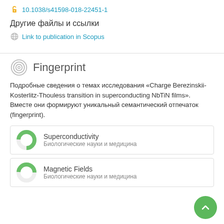10.1038/s41598-018-22451-1
Другие файлы и ссылки
Link to publication in Scopus
Fingerprint
Подробные сведения о темах исследования «Charge Berezinskii-Kosterlitz-Thouless transition in superconducting NbTiN films». Вместе они формируют уникальный семантический отпечаток (fingerprint).
Superconductivity
Биологические науки и медицина
Magnetic Fields
Биологические науки и медицина